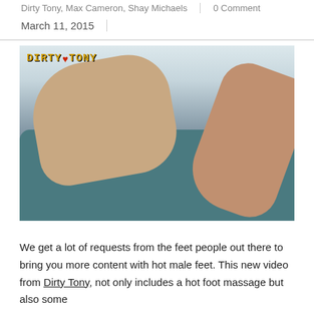Dirty Tony, Max Cameron, Shay Michaels | 0 Comment
March 11, 2015
[Figure (photo): Two men on a teal/dark sofa in an intimate scene. A watermark logo 'DIRTY TONY' appears in the top left corner of the image.]
We get a lot of requests from the feet people out there to bring you more content with hot male feet. This new video from Dirty Tony, not only includes a hot foot massage but also some